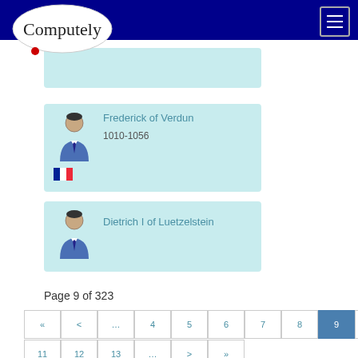Computely
[Figure (screenshot): Light blue card with no text (partial card at top)]
Frederick of Verdun
1010-1056
Dietrich I of Luetzelstein
Page 9 of 323
<< < ... 4 5 6 7 8 9 10
11 12 13 ... > >>